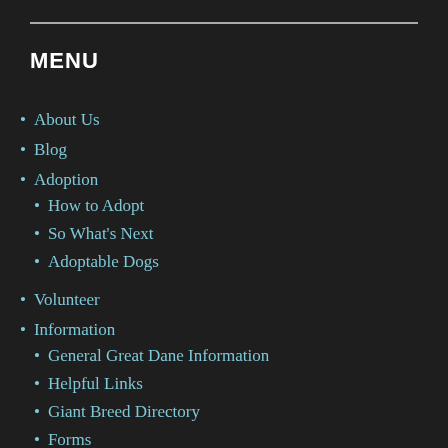MENU
About Us
Blog
Adoption
How to Adopt
So What's Next
Adoptable Dogs
Volunteer
Information
General Great Dane Information
Helpful Links
Giant Breed Directory
Forms